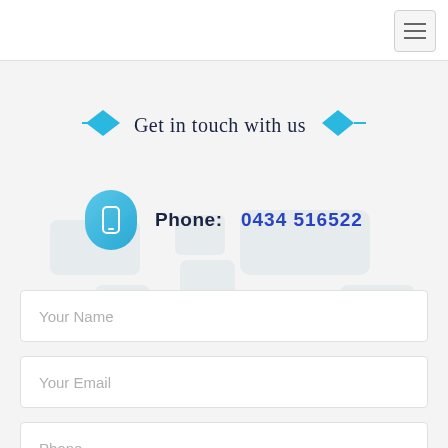[Figure (other): Hamburger menu button (three horizontal bars) in top-right corner]
Get in touch with us
Phone:  0434 516522
Your Name
Your Email
Phone